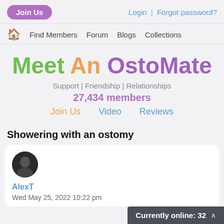Join Us   Login | Forgot password?
🏠 Find Members  Forum  Blogs  Collections
Meet An OstoMate
Support | Friendship | Relationships
27,434 members
Join Us   Video   Reviews
Showering with an ostomy
AlexT
Wed May 25, 2022 10:22 pm
Currently online: 32